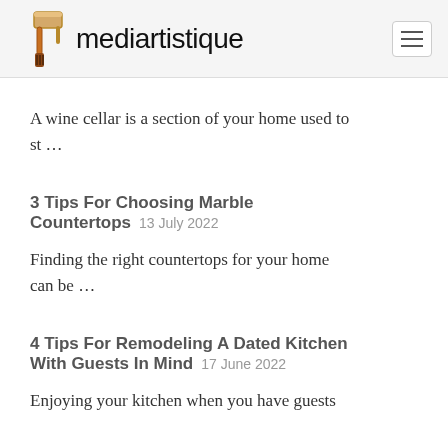mediartistique
A wine cellar is a section of your home used to st …
3 Tips For Choosing Marble Countertops 13 July 2022
Finding the right countertops for your home can be …
4 Tips For Remodeling A Dated Kitchen With Guests In Mind 17 June 2022
Enjoying your kitchen when you have guests